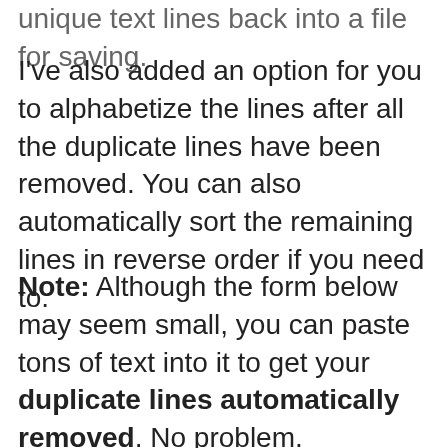unique text lines back into a file for saving.
I've also added an option for you to alphabetize the lines after all the duplicate lines have been removed. You can also automatically sort the remaining lines in reverse order if you need to.
Note: Although the form below may seem small, you can paste tons of text into it to get your duplicate lines automatically removed. No problem.